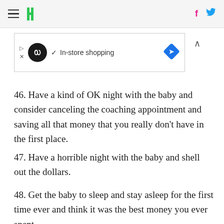HuffPost navigation with hamburger menu, logo, Facebook and Twitter icons
[Figure (other): Advertisement banner showing an infinity-loop icon, checkmark, 'In-store shopping' text, and a blue diamond navigation icon]
46. Have a kind of OK night with the baby and consider canceling the coaching appointment and saving all that money that you really don't have in the first place.
47. Have a horrible night with the baby and shell out the dollars.
48. Get the baby to sleep and stay asleep for the first time ever and think it was the best money you ever spent.